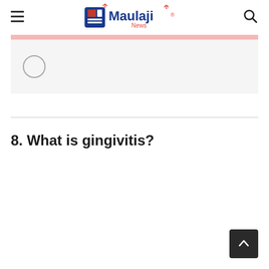Maulaji News
[Figure (screenshot): Radio button UI element inside a light gray box below a pink bar]
8. What is gingivitis?